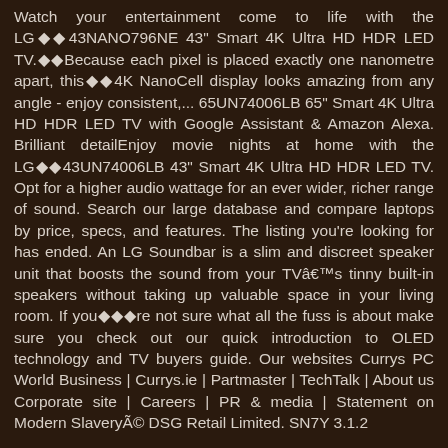Watch your entertainment come to life with the LG◆◆43NANO796NE 43" Smart 4K Ultra HD HDR LED TV.◆◆Because each pixel is placed exactly one nanometre apart, this◆◆4K NanoCell display looks amazing from any angle - enjoy consistent,... 65UN74006LB 65" Smart 4K Ultra HD HDR LED TV with Google Assistant & Amazon Alexa. Brilliant detailEnjoy movie nights at home with the LG◆◆43UN74006LB 43" Smart 4K Ultra HD HDR LED TV. Opt for a higher audio wattage for an ever wider, richer range of sound. Search our large database and compare laptops by price, specs, and features. The listing you're looking for has ended. An LG Soundbar is a slim and discreet speaker unit that boosts the sound from your TVâs tinny built-in speakers without taking up valuable space in your living room. If you◆◆◆re not sure what all the fuss is about make sure you check out our quick introduction to OLED technology and TV buyers guide. Our websites Currys PC World Business | Currys.ie | Partmaster | TechTalk | About us Corporate site | Careers | PR & media | Statement on Modern SlaveryÃ© DSG Retail Limited. SN7Y 3.1.2 ...